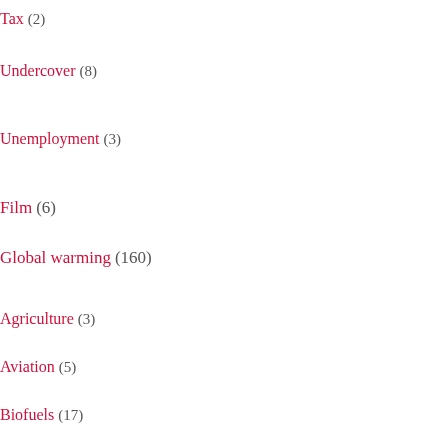Tax (2)
Undercover (8)
Unemployment (3)
Film (6)
Global warming (160)
Agriculture (3)
Aviation (5)
Biofuels (17)
RTFO (1)
Biomass (3)
Carbon offsetting (3)
Carbon taxes (2)
Effects (10+)